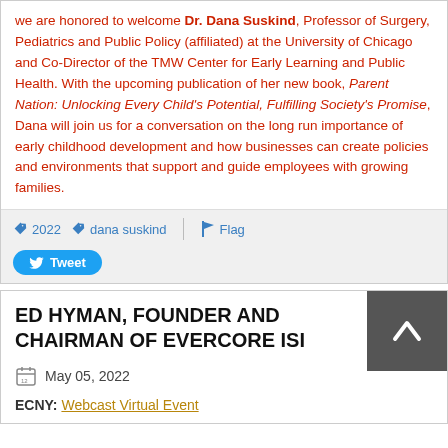We are honored to welcome Dr. Dana Suskind, Professor of Surgery, Pediatrics and Public Policy (affiliated) at the University of Chicago and Co-Director of the TMW Center for Early Learning and Public Health. With the upcoming publication of her new book, Parent Nation: Unlocking Every Child's Potential, Fulfilling Society's Promise, Dana will join us for a conversation on the long run importance of early childhood development and how businesses can create policies and environments that support and guide employees with growing families.
2022   dana suskind   Flag   Tweet
ED HYMAN, FOUNDER AND CHAIRMAN OF EVERCORE ISI
May 05, 2022
ECNY: Webcast Virtual Event